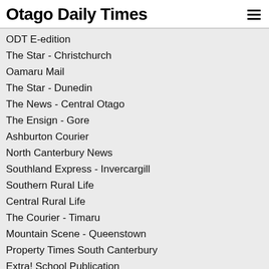Otago Daily Times
ODT E-edition
The Star - Christchurch
Oamaru Mail
The Star - Dunedin
The News - Central Otago
The Ensign - Gore
Ashburton Courier
North Canterbury News
Southland Express - Invercargill
Southern Rural Life
Central Rural Life
The Courier - Timaru
Mountain Scene - Queenstown
Property Times South Canterbury
Extra! School Publication
Clutha Leader
Bay Harbour News
Selwyn Times
Classifieds    Advertise